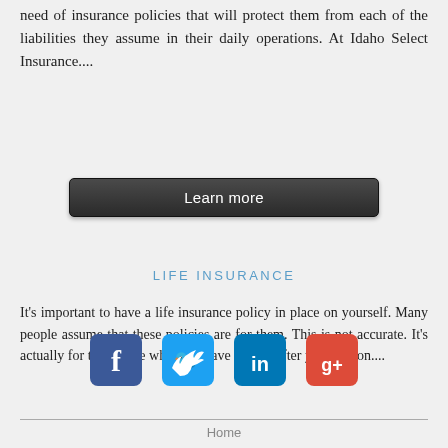need of insurance policies that will protect them from each of the liabilities they assume in their daily operations. At Idaho Select Insurance....
[Figure (other): Learn more button (dark rounded rectangle)]
LIFE INSURANCE
It’s important to have a life insurance policy in place on yourself. Many people assume that these policies are for them. This is not accurate. It’s actually for the people who you leave behind after you pass on....
[Figure (other): Learn more button (dark rounded rectangle)]
[Figure (other): Social media icons: Facebook, Twitter, LinkedIn, Google+]
Home